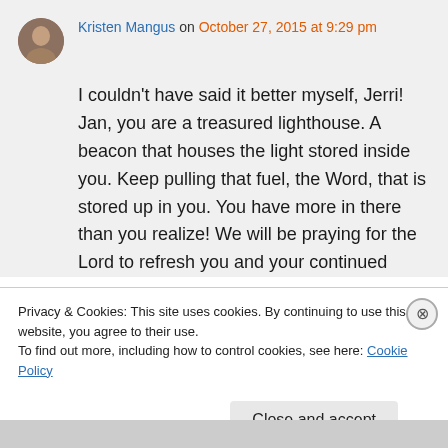Kristen Mangus on October 27, 2015 at 9:29 pm
I couldn't have said it better myself, Jerri! Jan, you are a treasured lighthouse. A beacon that houses the light stored inside you. Keep pulling that fuel, the Word, that is stored up in you. You have more in there than you realize! We will be praying for the Lord to refresh you and your continued
Privacy & Cookies: This site uses cookies. By continuing to use this website, you agree to their use.
To find out more, including how to control cookies, see here: Cookie Policy
Close and accept